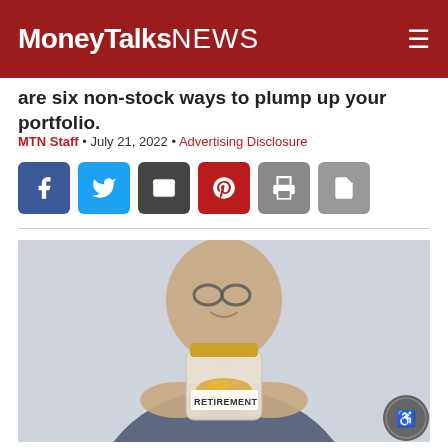MoneyTalksNews
are six non-stock ways to plump up your portfolio.
MTN Staff • July 21, 2022 • Advertising Disclosure
[Figure (other): Social share buttons: Facebook, Twitter, Email, Pinterest, Print, PDF]
[Figure (photo): An older man smiling, holding a glass jar labeled 'RETIREMENT' filled with coins toward the camera. Blurred background.]